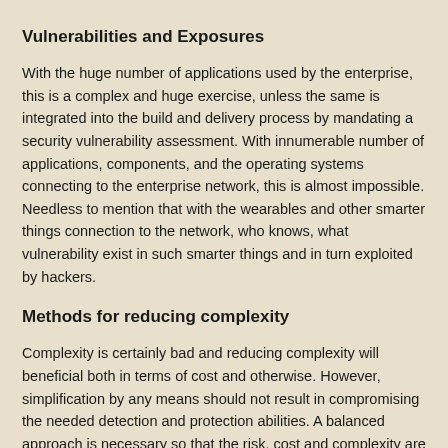Vulnerabilities and Exposures
With the huge number of applications used by the enterprise, this is a complex and huge exercise, unless the same is integrated into the build and delivery process by mandating a security vulnerability assessment. With innumerable number of applications, components, and the operating systems connecting to the enterprise network, this is almost impossible. Needless to mention that with the wearables and other smarter things connection to the network, who knows, what vulnerability exist in such smarter things and in turn exploited by hackers.
Methods for reducing complexity
Complexity is certainly bad and reducing complexity will beneficial both in terms of cost and otherwise. However, simplification by any means should not result in compromising the needed detection and protection abilities. A balanced approach is necessary so that the risk, cost and complexity are well balanced and beneficial to the